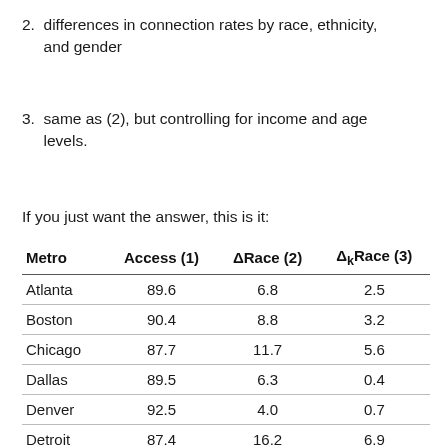2. differences in connection rates by race, ethnicity, and gender
3. same as (2), but controlling for income and age levels.
If you just want the answer, this is it:
| Metro | Access (1) | ΔRace (2) | ΔkRace (3) |
| --- | --- | --- | --- |
| Atlanta | 89.6 | 6.8 | 2.5 |
| Boston | 90.4 | 8.8 | 3.2 |
| Chicago | 87.7 | 11.7 | 5.6 |
| Dallas | 89.5 | 6.3 | 0.4 |
| Denver | 92.5 | 4.0 | 0.7 |
| Detroit | 87.4 | 16.2 | 6.9 |
| Houston | 89.1 | 8.5 | 4.0 |